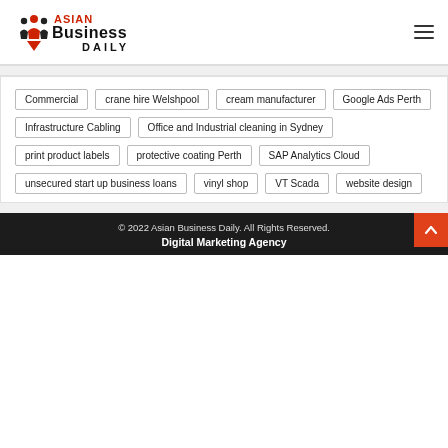Asian Business Daily
Commercial
crane hire Welshpool
cream manufacturer
Google Ads Perth
Infrastructure Cabling
Office and Industrial cleaning in Sydney
print product labels
protective coating Perth
SAP Analytics Cloud
unsecured start up business loans
vinyl shop
VT Scada
website design
© 2022 Asian Business Daily. All Rights Reserved.
Digital Marketing Agency